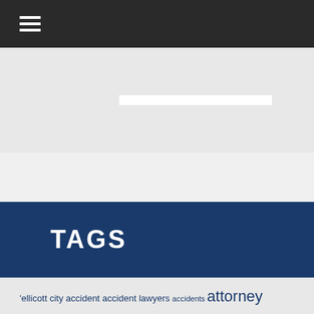≡ (navigation menu icon)
TAGS
'ellicott city accident accident lawyers accidents attorney auto accident auto accident attorney auto accident lawyer baltimore birth injuries car accident car accident attorney car accident attorney maryland car accident lawyer car accident lawyers car accidents car crash cars cars accident clarksville columbia columbia md frederick howard county injury attorney interstate 95 in maryland jonathan scott smith jonathan scott smith llc law office maryland maryland route 32 Medical Malpractice motor vehicle accident personal injury